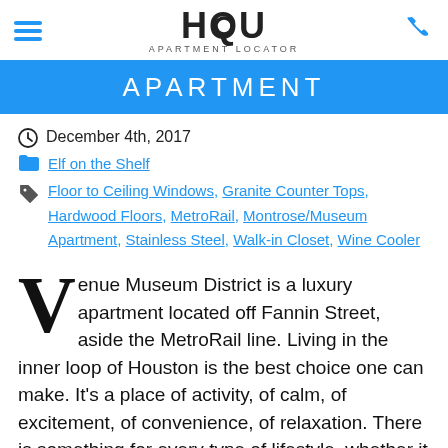HQU APARTMENT LOCATOR
APARTMENT
December 4th, 2017
Elf on the Shelf
Floor to Ceiling Windows, Granite Counter Tops, Hardwood Floors, MetroRail, Montrose/Museum Apartment, Stainless Steel, Walk-in Closet, Wine Cooler
Venue Museum District is a luxury apartment located off Fannin Street, aside the MetroRail line. Living in the inner loop of Houston is the best choice one can make. It's a place of activity, of calm, of excitement, of convenience, of relaxation. There is something for every type of lifestyle, whether it be to